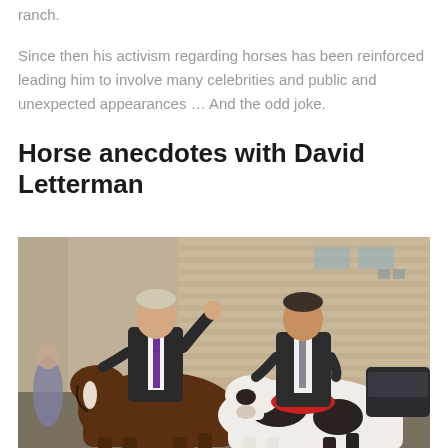ranch.
Since then his activism regarding horses has been reinforced leading him to involve many celebrities and public and unexpected appearances … And the odd joke.
Horse anecdotes with David Letterman
[Figure (photo): Two men in suits riding horses on an urban street in front of a brick building. The man on the left (riding a brown horse) is waving and smiling, wearing a purple striped tie. The man on the right is riding a black and white paint horse and wearing a grey tie.]